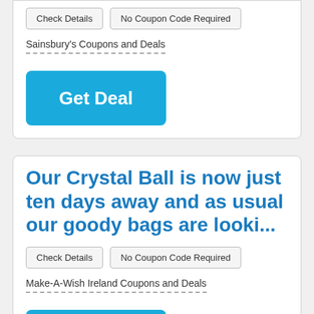Check Details | No Coupon Code Required
Sainsbury's Coupons and Deals
Get Deal
Our Crystal Ball is now just ten days away and as usual our goody bags are looki...
Check Details | No Coupon Code Required
Make-A-Wish Ireland Coupons and Deals
Get Deal